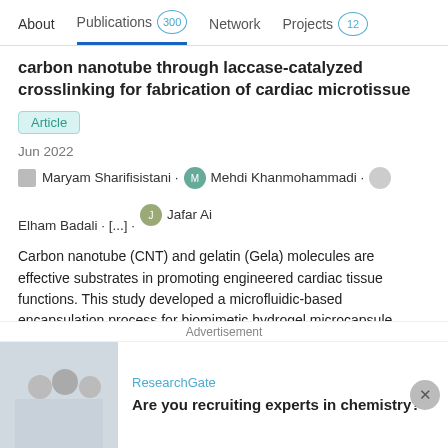About  Publications 300  Network  Projects 12
carbon nanotube through laccase-catalyzed crosslinking for fabrication of cardiac microtissue
Article
Jun 2022
Maryam Sharifisistani · Mehdi Khanmohammadi · Elham Badali · [...] · Jafar Ai
Carbon nanotube (CNT) and gelatin (Gela) molecules are effective substrates in promoting engineered cardiac tissue functions. This study developed a microfluidic-based encapsulation process for biomimetic hydrogel microcapsule fabrication. The hydrogel microcapsule was produced through a coaxial double orifice microfluidic technique and a water-in-...
View
Advertisement
ResearchGate
Are you recruiting experts in chemistry?